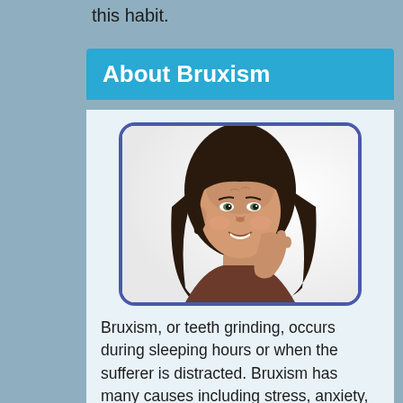this habit.
About Bruxism
[Figure (photo): Woman holding her jaw/cheek in pain, suggesting tooth or jaw discomfort related to bruxism]
Bruxism, or teeth grinding, occurs during sleeping hours or when the sufferer is distracted. Bruxism has many causes including stress, anxiety, misalignment of the teeth or jaw, and sleep disturbances.